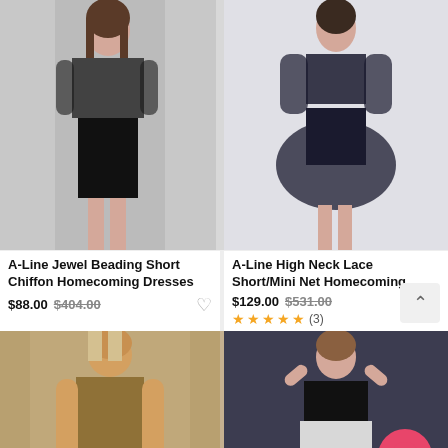[Figure (photo): Woman in black sheer short chiffon dress, product photo on white background]
[Figure (photo): Woman in black high neck lace short/mini net homecoming dress, product photo on white background]
A-Line Jewel Beading Short Chiffon Homecoming Dresses
$88.00 $404.00
A-Line High Neck Lace Short/Mini Net Homecoming
$129.00 $531.00 ★★★★★(3)
[Figure (photo): Woman in gold sequin dress, product photo]
[Figure (photo): Woman in black and white strapless dress, product photo on dark background]